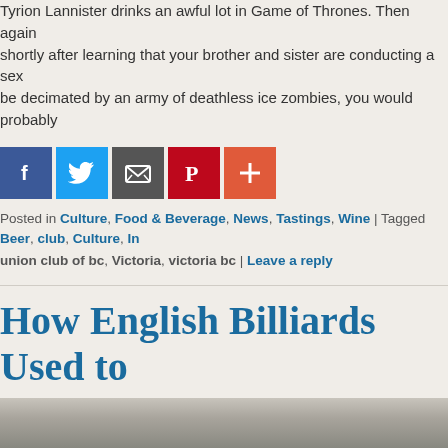Tyrion Lannister drinks an awful lot in Game of Thrones. Then again shortly after learning that your brother and sister are conducting a sex be decimated by an army of deathless ice zombies, you would probably
[Figure (other): Social sharing buttons: Facebook (blue), Twitter (light blue), Email (dark grey), Pinterest (red), Plus/More (orange-red)]
Posted in Culture, Food & Beverage, News, Tastings, Wine | Tagged Beer, club, Culture, In union club of bc, Victoria, victoria bc | Leave a reply
How English Billiards Used to at the Club
Posted on November 8, 2018 by unionclub
The following was shared with the Club by Dennett Netterville, Union Cl Master Coach.  Thanks Dennett!
[Figure (photo): Partial view of a black and white photograph at the bottom of the page]